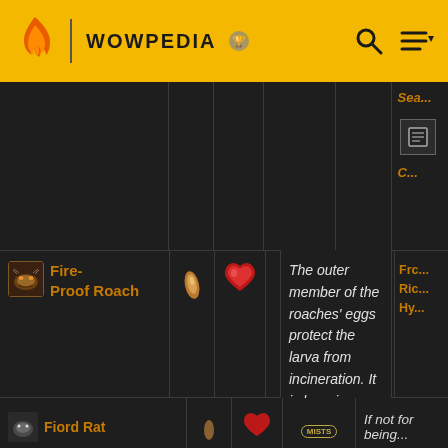WOWPEDIA
| Name |  |  | Expansion | Description | Source |
| --- | --- | --- | --- | --- | --- |
|  |  |  |  |  | Sea... |
| Fire-Proof Roach |  |  | MISTS | The outer member of the roaches' eggs protect the larva from incineration. It is here in incubation that they gain the ability to resist the fire and heat of the volcanic climate. | Frc... Ric... Hy... |
| Fiord Rat |  |  |  | If not for being... |  |